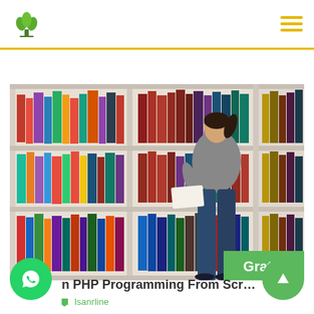Logo and hamburger menu navigation bar
[Figure (photo): Woman browsing books in a large bookstore or library, standing in front of tall white shelves filled with colorful books, holding an open book. A green 'Gratis' badge appears in the bottom-right corner of the image.]
n PHP Programming From Scratch
Isanrline